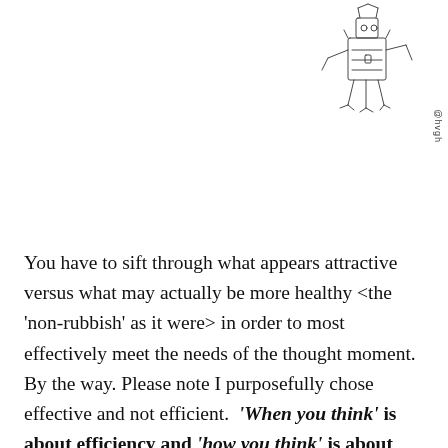[Figure (illustration): A small pen-and-ink sketch of a mechanical or industrial machine/robot-like structure, drawn in a loose illustrative style.]
@hvgh
You have to sift through what appears attractive versus what may actually be more healthy <the 'non-rubbish' as it were> in order to most effectively meet the needs of the thought moment. By the way. Please note I purposefully chose effective and not efficient.  'When you think' is about efficiency and 'how you think' is about effectiveness. This is a focus aspect of thinking. Shiny objects